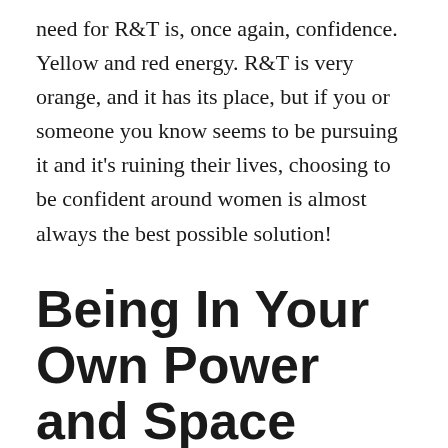need for R&T is, once again, confidence. Yellow and red energy. R&T is very orange, and it has its place, but if you or someone you know seems to be pursuing it and it's ruining their lives, choosing to be confident around women is almost always the best possible solution!
Being In Your Own Power and Space